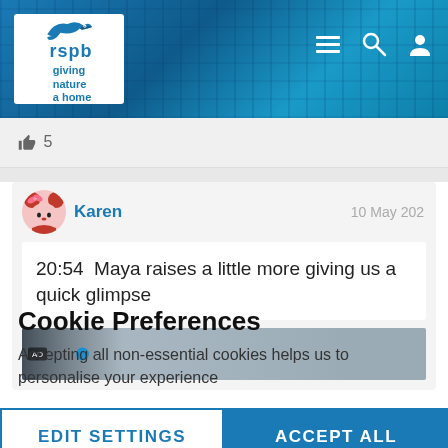[Figure (screenshot): RSPB website header with logo (bird silhouette, 'giving nature a home', 'rspb' text) on blue textured background with hamburger menu, search, and user icons]
👍 5
Karen    10 May 202
20:54  Maya raises a little more giving us a quick glimpse
[Figure (screenshot): Partial screenshot of a nest cam video thumbnail showing dark textured/grey surface]
Cookie Preferences
Accepting all non-essential cookies helps us to personalise your experience
EDIT SETTINGS
ACCEPT ALL